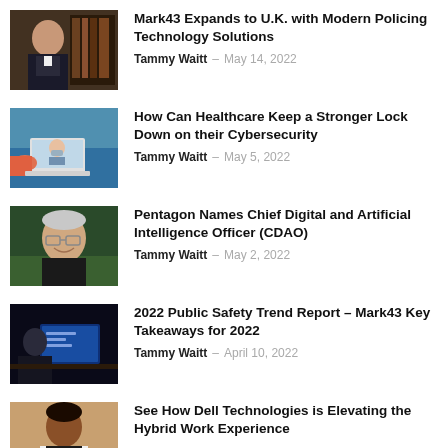[Figure (photo): Police officer in uniform]
Mark43 Expands to U.K. with Modern Policing Technology Solutions
Tammy Waitt - May 14, 2022
[Figure (photo): Person on laptop in telemedicine call]
How Can Healthcare Keep a Stronger Lock Down on their Cybersecurity
Tammy Waitt - May 5, 2022
[Figure (photo): Man with glasses smiling]
Pentagon Names Chief Digital and Artificial Intelligence Officer (CDAO)
Tammy Waitt - May 2, 2022
[Figure (photo): Person at computer screen in dark room]
2022 Public Safety Trend Report – Mark43 Key Takeaways for 2022
Tammy Waitt - April 10, 2022
[Figure (photo): Woman in office setting]
See How Dell Technologies is Elevating the Hybrid Work Experience